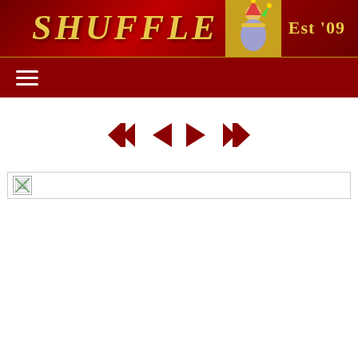SHUFFLE Est '09 — website banner and navigation
[Figure (screenshot): Navigation controls: skip-back, previous, next, skip-forward arrows in dark red]
[Figure (screenshot): Broken image placeholder with small icon at top-left]
[Figure (screenshot): Navigation controls at bottom: skip-back, previous, next, skip-forward arrows in dark red]